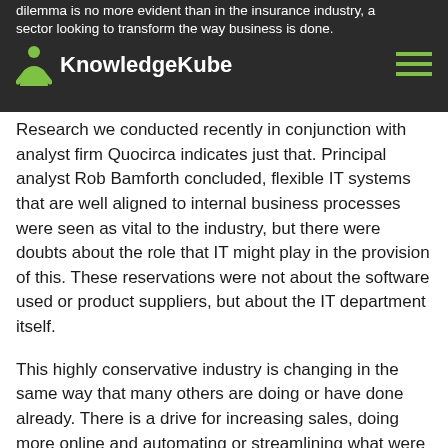dilemma is no more evident than in the insurance industry, a sector looking to transform the way business is done.
[Figure (logo): KnowledgeKube logo with green person icon and white bold text on dark background]
Research we conducted recently in conjunction with analyst firm Quocirca indicates just that. Principal analyst Rob Bamforth concluded, flexible IT systems that are well aligned to internal business processes were seen as vital to the industry, but there were doubts about the role that IT might play in the provision of this. These reservations were not about the software used or product suppliers, but about the IT department itself.
This highly conservative industry is changing in the same way that many others are doing or have done already. There is a drive for increasing sales, doing more online and automating or streamlining what were once